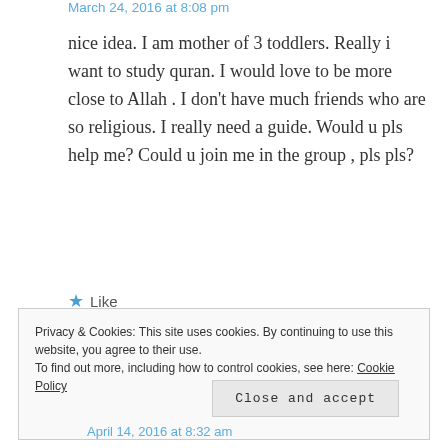March 24, 2016 at 8:08 pm
nice idea. I am mother of 3 toddlers. Really i want to study quran. I would love to be more close to Allah . I don't have much friends who are so religious. I really need a guide. Would u pls help me? Could u join me in the group , pls pls?
★ Like
Reply →
Privacy & Cookies: This site uses cookies. By continuing to use this website, you agree to their use.
To find out more, including how to control cookies, see here: Cookie Policy
Close and accept
April 14, 2016 at 8:32 am